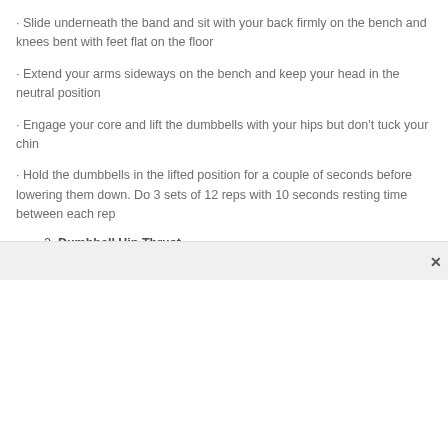· Slide underneath the band and sit with your back firmly on the bench and knees bent with feet flat on the floor
· Extend your arms sideways on the bench and keep your head in the neutral position
· Engage your core and lift the dumbbells with your hips but don't tuck your chin
· Hold the dumbbells in the lifted position for a couple of seconds before lowering them down. Do 3 sets of 12 reps with 10 seconds resting time between each rep
2. Dumbbell Hip Thrust